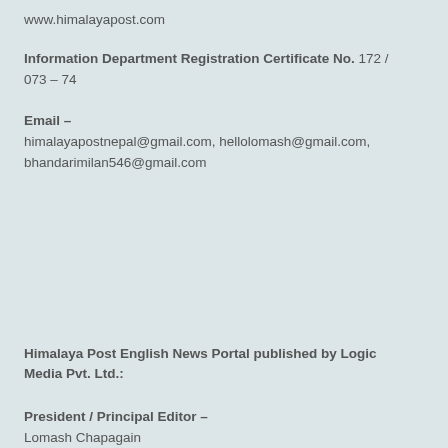www.himalayapost.com
Information Department Registration Certificate No. 172 / 073 – 74
Email – himalayapostnepal@gmail.com, hellolomash@gmail.com, bhandarimilan546@gmail.com
Himalaya Post English News Portal published by Logic Media Pvt. Ltd.:
President / Principal Editor – Lomash Chapagain